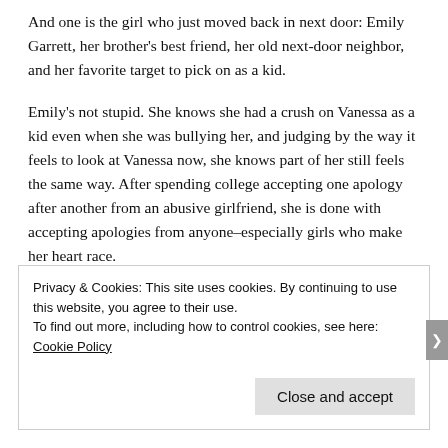And one is the girl who just moved back in next door: Emily Garrett, her brother's best friend, her old next-door neighbor, and her favorite target to pick on as a kid.
Emily's not stupid. She knows she had a crush on Vanessa as a kid even when she was bullying her, and judging by the way it feels to look at Vanessa now, she knows part of her still feels the same way. After spending college accepting one apology after another from an abusive girlfriend, she is done with accepting apologies from anyone–especially girls who make her heart race.
Privacy & Cookies: This site uses cookies. By continuing to use this website, you agree to their use.
To find out more, including how to control cookies, see here: Cookie Policy
Close and accept